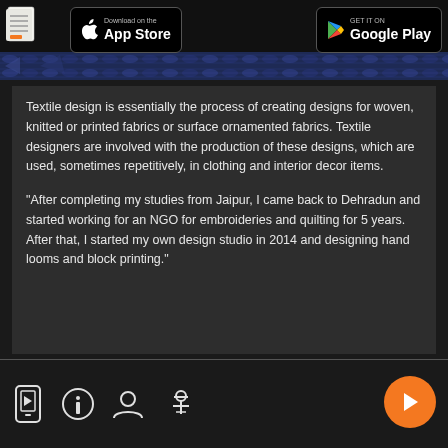App Store | Google Play
[Figure (photo): Textile fabric pattern image strip showing woven blue/dark fabric with decorative designs]
Textile design is essentially the process of creating designs for woven, knitted or printed fabrics or surface ornamented fabrics. Textile designers are involved with the production of these designs, which are used, sometimes repetitively, in clothing and interior decor items.
"After completing my studies from Jaipur, I came back to Dehradun and started working for an NGO for embroideries and quilting for 5 years. After that, I started my own design studio in 2014 and designing hand looms and block printing."
Navigation icons: video, info, profile, settings | Play button